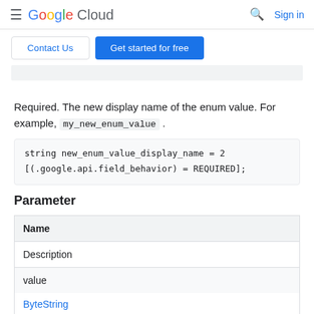Google Cloud — Sign in
Contact Us | Get started for free
Required. The new display name of the enum value. For example, my_new_enum_value .
Parameter
| Name | Description |
| --- | --- |
| value | ByteString |